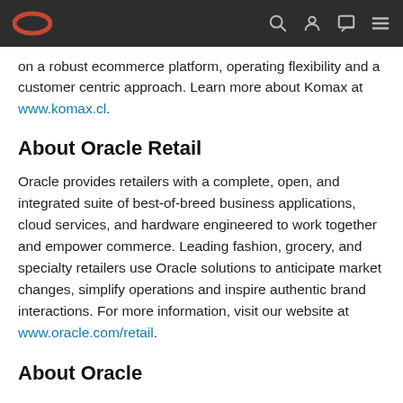Oracle navigation bar with logo and icons
on a robust ecommerce platform, operating flexibility and a customer centric approach. Learn more about Komax at www.komax.cl.
About Oracle Retail
Oracle provides retailers with a complete, open, and integrated suite of best-of-breed business applications, cloud services, and hardware engineered to work together and empower commerce. Leading fashion, grocery, and specialty retailers use Oracle solutions to anticipate market changes, simplify operations and inspire authentic brand interactions. For more information, visit our website at www.oracle.com/retail.
About Oracle